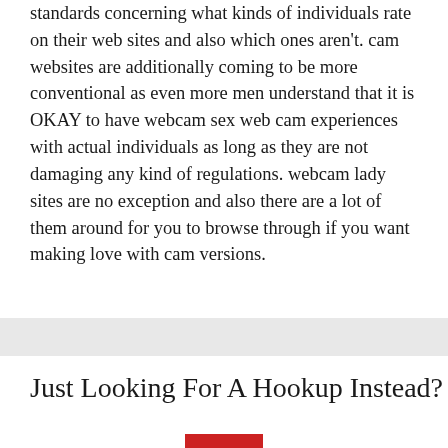standards concerning what kinds of individuals rate on their web sites and also which ones aren't. cam websites are additionally coming to be more conventional as even more men understand that it is OKAY to have webcam sex web cam experiences with actual individuals as long as they are not damaging any kind of regulations. webcam lady sites are no exception and also there are a lot of them around for you to browse through if you want making love with cam versions.
Just Looking For A Hookup Instead?